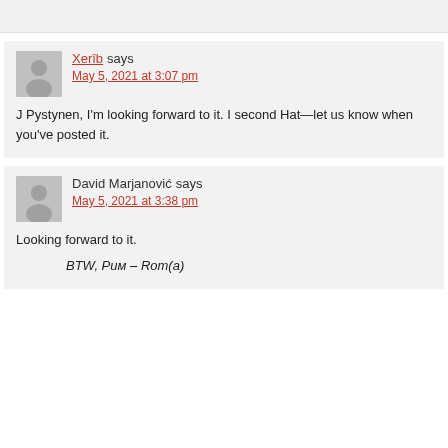Xerib says May 5, 2021 at 3:07 pm
J Pystynen, I'm looking forward to it. I second Hat—let us know when you've posted it.
David Marjanović says May 5, 2021 at 3:38 pm
Looking forward to it.
BTW, Рим – Rom(a)